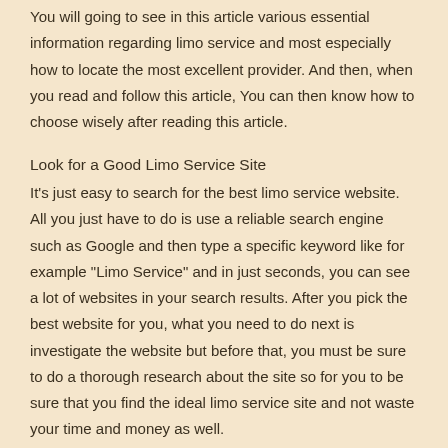You will going to see in this article various essential information regarding limo service and most especially how to locate the most excellent provider. And then, when you read and follow this article, You can then know how to choose wisely after reading this article.
Look for a Good Limo Service Site
It's just easy to search for the best limo service website. All you just have to do is use a reliable search engine such as Google and then type a specific keyword like for example "Limo Service" and in just seconds, you can see a lot of websites in your search results. After you pick the best website for you, what you need to do next is investigate the website but before that, you must be sure to do a thorough research about the site so for you to be sure that you find the ideal limo service site and not waste your time and money as well.